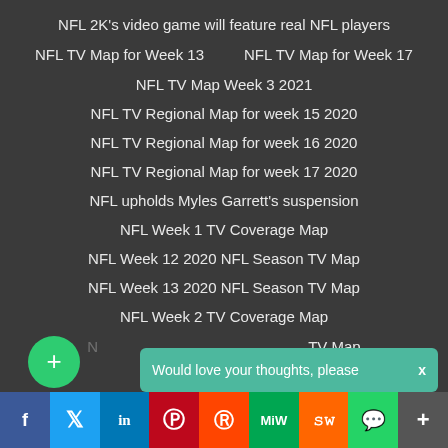NFL 2K's video game will feature real NFL players
NFL TV Map for Week 13   NFL TV Map for Week 17
NFL TV Map Week 3 2021
NFL TV Regional Map for week 15 2020
NFL TV Regional Map for week 16 2020
NFL TV Regional Map for week 17 2020
NFL upholds Myles Garrett's suspension
NFL Week 1 TV Coverage Map
NFL Week 12 2020 NFL Season TV Map
NFL Week 13 2020 NFL Season TV Map
NFL Week 2 TV Coverage Map
Would love your thoughts, please   x   TV Map